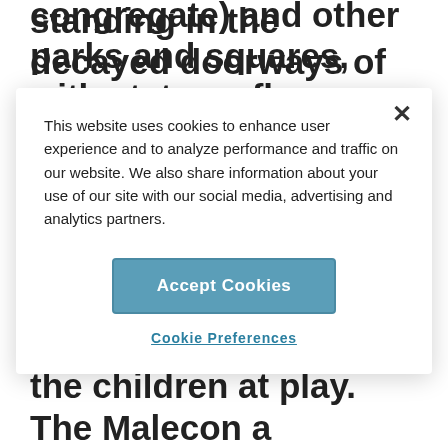standing in the decayed doorways of their buildings; there is no air-conditioning; the
This website uses cookies to enhance user experience and to analyze performance and traffic on our website. We also share information about your use of our site with our social media, advertising and analytics partners.
Accept Cookies
Cookie Preferences
congregate) and other parks and squares, with statues, flowers and loungers. And of course, there is the Prado, a wonderful oasis for walking, people watching, resting and enjoying the children at play. The Malecon a